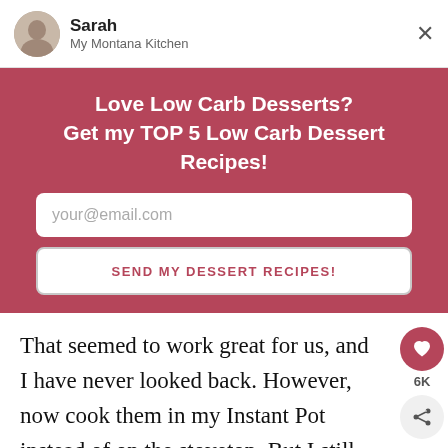Sarah
My Montana Kitchen
Love Low Carb Desserts?
Get my TOP 5 Low Carb Dessert Recipes!
your@email.com
SEND MY DESSERT RECIPES!
That seemed to work great for us, and I have never looked back. However, now cook them in my Instant Pot instead of on the stovetop. But I still put them under the broiler to crisp.